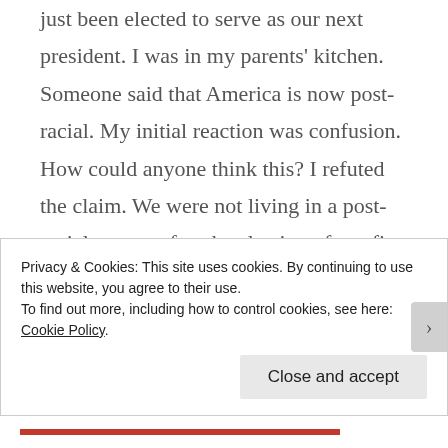just been elected to serve as our next president. I was in my parents' kitchen. Someone said that America is now post-racial. My initial reaction was confusion. How could anyone think this? I refuted the claim. We were not living in a post-racial county after the election of our first black president. Over tens years later, we are still not. While some folks may want to claim that America is post-racial, the recent surge in Black Lives Matter demonstrations, as well as the overall discrepancy between Black and white
Privacy & Cookies: This site uses cookies. By continuing to use this website, you agree to their use.
To find out more, including how to control cookies, see here: Cookie Policy
Close and accept